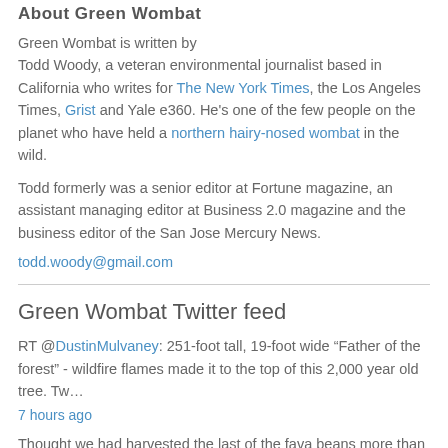About Green Wombat
Green Wombat is written by Todd Woody, a veteran environmental journalist based in California who writes for The New York Times, the Los Angeles Times, Grist and Yale e360. He's one of the few people on the planet who have held a northern hairy-nosed wombat in the wild.
Todd formerly was a senior editor at Fortune magazine, an assistant managing editor at Business 2.0 magazine and the business editor of the San Jose Mercury News.
todd.woody@gmail.com
Green Wombat Twitter feed
RT @DustinMulvaney: 251-foot tall, 19-foot wide “Father of the forest” - wildfire flames made it to the top of this 2,000 year old tree. Tw…
7 hours ago
Thought we had harvested the last of the fava beans more than a month